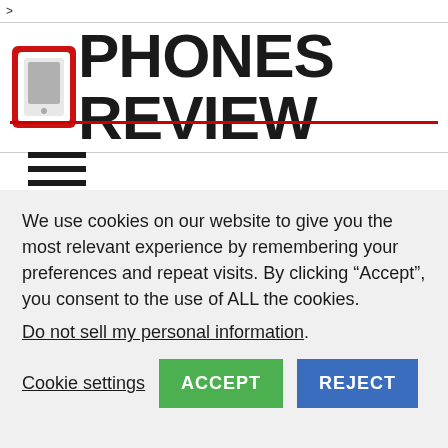>
[Figure (logo): Phones Review logo with red phone icon and bold black text 'PHONES REVIEW' with red underline]
[Figure (other): Hamburger menu icon with three horizontal black lines]
Qualcomm Snapdragon S4 camera
We use cookies on our website to give you the most relevant experience by remembering your preferences and repeat visits. By clicking “Accept”, you consent to the use of ALL the cookies.
Do not sell my personal information.
Cookie settings  ACCEPT  REJECT